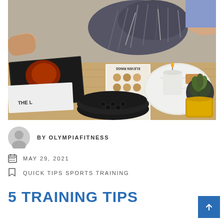[Figure (photo): A couch scene with books on a wooden coffee table including 'Greatest Of' and 'Eleven Rings by Phil Jackson', alongside a black bowl, a white candle on a marble tray, a potted succulent, and a yellow candle. A person is partially visible lounging on the couch with a grey knit blanket.]
BY OLYMPIAFITNESS
MAY 29, 2021
QUICK TIPS SPORTS TRAINING
5 TRAINING TIPS